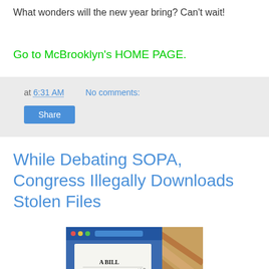What wonders will the new year bring? Can't wait!
Go to McBrooklyn's HOME PAGE.
at 6:31 AM   No comments:
Share
While Debating SOPA, Congress Illegally Downloads Stolen Files
[Figure (photo): Photo of a document titled 'A BILL' on a computer screen, showing legislative text about preventing online threats to economic stability and theft of intellectual property.]